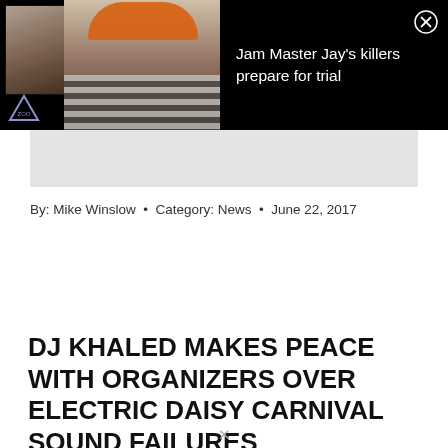[Figure (photo): Ad banner: composite photo of two people against black background with text 'Jam Master Jay's killers prepare for trial']
By: Mike Winslow  •  Category: News  •  June 22, 2017
DJ KHALED MAKES PEACE WITH ORGANIZERS OVER ELECTRIC DAISY CARNIVAL SOUND FAILURES